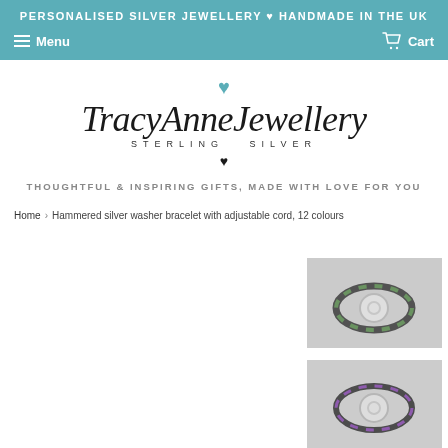PERSONALISED SILVER JEWELLERY ♥ HANDMADE IN THE UK
Menu  Cart
[Figure (logo): TracyAnne Jewellery Sterling Silver logo with teal heart above script text and tagline below]
THOUGHTFUL & INSPIRING GIFTS, MADE WITH LOVE FOR YOU
Home › Hammered silver washer bracelet with adjustable cord, 12 colours
[Figure (photo): Photo of hammered silver washer bracelet with green and black adjustable cord]
[Figure (photo): Photo of hammered silver washer bracelet with purple cord - partially visible]